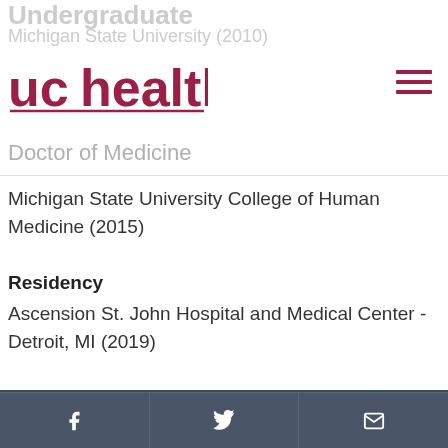[Figure (logo): UCHealth logo in dark red/maroon color with underline]
Undergraduate
Michigan State University (2010)
Doctor of Medicine
Michigan State University College of Human Medicine (2015)
Residency
Ascension St. John Hospital and Medical Center - Detroit, MI (2019)
We use cookies to make interactions with our website easy and meaningful. By continuing to use this site you are giving us your consent. Learn how cookies are used on our site.
Accept terms
[Figure (infographic): Footer social bar with Facebook, Twitter, and email icons on dark blue-grey background]